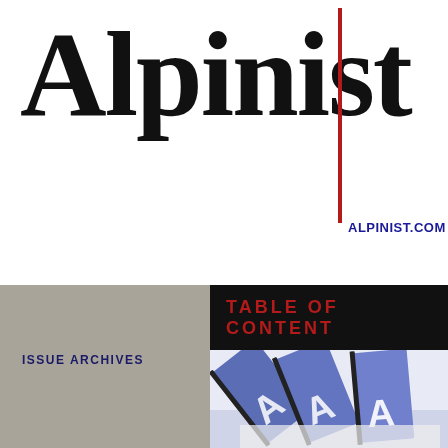Alpinist
ALPINIST.COM
TABLE OF CONTENT
ISSUE ARCHIVES
[Figure (photo): Fanned-out issues of Alpinist magazine showing the A logo on blue covers, spread like a hand of cards on a white surface.]